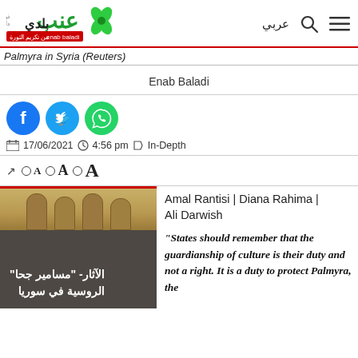[Figure (logo): Enab Baladi logo with Arabic text and green flower icon, plus Arabic navigation icons]
Palmyra in Syria (Reuters)
Enab Baladi
[Figure (infographic): Social media share icons: Facebook (blue circle), Twitter (blue circle), WhatsApp (green circle)]
17/06/2021  4:56 pm  In-Depth
○A ○A ○A (font size selector)
[Figure (photo): Photo of Palmyra ruins with Arabic overlay text reading: الآثار- مسامير جحا الروسية في سوريا]
Amal Rantisi | Diana Rahima | Ali Darwish
“States should remember that the guardianship of culture is their duty and not a right. It is a duty to protect Palmyra, the